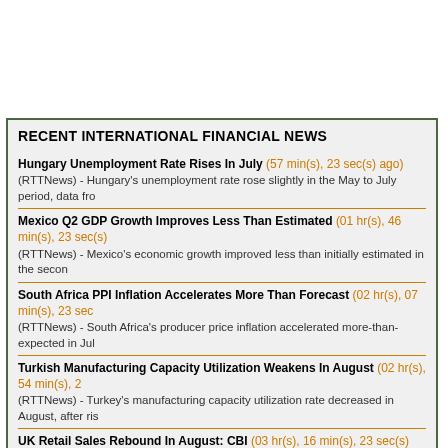RECENT INTERNATIONAL FINANCIAL NEWS
Hungary Unemployment Rate Rises In July (57 min(s), 23 sec(s) ago)
(RTTNews) - Hungary's unemployment rate rose slightly in the May to July period, data fro...
Mexico Q2 GDP Growth Improves Less Than Estimated (01 hr(s), 46 min(s), 23 sec(s) ago)
(RTTNews) - Mexico's economic growth improved less than initially estimated in the secon...
South Africa PPI Inflation Accelerates More Than Forecast (02 hr(s), 07 min(s), 23 sec(s) ago)
(RTTNews) - South Africa's producer price inflation accelerated more-than-expected in Jul...
Turkish Manufacturing Capacity Utilization Weakens In August (02 hr(s), 54 min(s), 2... ago)
(RTTNews) - Turkey's manufacturing capacity utilization rate decreased in August, after ris...
UK Retail Sales Rebound In August: CBI (03 hr(s), 16 min(s), 23 sec(s) ago)
(RTTNews) - UK retail sales unexpectedly rebounded in August but firms were pessimistic...
Spain PPI Inflation Eases Further In July (03 hr(s), 36 min(s), 23 sec(s) ago)
(RTTNews) - Spain's producer price inflation eased for the fourth straight month in July, th...
German Business Confidence Fall For Third Straight Month (03 hr(s), 40 min(s), 23 se... ago)
(RTTNews) - Germany's business confidence weakened for the third straight month in Aug...
German Economy Expands In Q2 (04 hr(s), 35 min(s), 23 sec(s) ago)
(RTTNews) - Underpinned by household and government spending, the German economy...